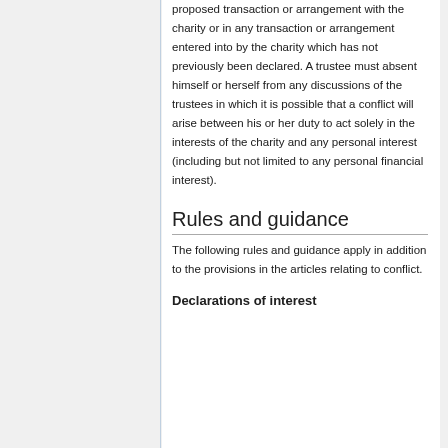proposed transaction or arrangement with the charity or in any transaction or arrangement entered into by the charity which has not previously been declared. A trustee must absent himself or herself from any discussions of the trustees in which it is possible that a conflict will arise between his or her duty to act solely in the interests of the charity and any personal interest (including but not limited to any personal financial interest).
Rules and guidance
The following rules and guidance apply in addition to the provisions in the articles relating to conflict.
Declarations of interest